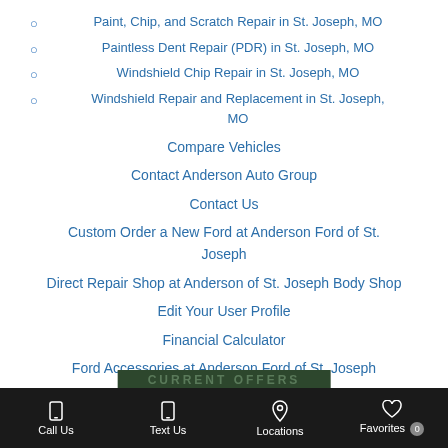Paint, Chip, and Scratch Repair in St. Joseph, MO
Paintless Dent Repair (PDR) in St. Joseph, MO
Windshield Chip Repair in St. Joseph, MO
Windshield Repair and Replacement in St. Joseph, MO
Compare Vehicles
Contact Anderson Auto Group
Contact Us
Custom Order a New Ford at Anderson Ford of St. Joseph
Direct Repair Shop at Anderson of St. Joseph Body Shop
Edit Your User Profile
Financial Calculator
Ford Accessories at Anderson Ford of St. Joseph
Ford Dealer Maryville, MO
Ford EcoSport Specials in St. Joseph, MO at Anderson
Call Us   Text Us   Locations   Favorites 0